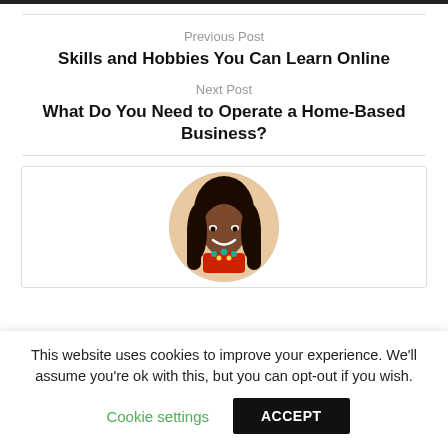Previous Post
Skills and Hobbies You Can Learn Online
Next Post
What Do You Need to Operate a Home-Based Business?
[Figure (photo): Circular profile photo of a smiling woman with long dark hair wearing a red top and teal necklace]
This website uses cookies to improve your experience. We'll assume you're ok with this, but you can opt-out if you wish.
Cookie settings   ACCEPT